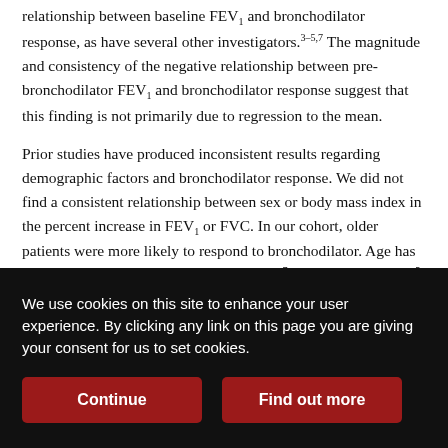relationship between baseline FEV1 and bronchodilator response, as have several other investigators.3–5,7 The magnitude and consistency of the negative relationship between pre-bronchodilator FEV1 and bronchodilator response suggest that this finding is not primarily due to regression to the mean.
Prior studies have produced inconsistent results regarding demographic factors and bronchodilator response. We did not find a consistent relationship between sex or body mass index in the percent increase in FEV1 or FVC. In our cohort, older patients were more likely to respond to bronchodilator. Age has been found to have a negative correlation,7 positive correlation,5 or no correlation13 with FEV1 response to bronchodilator. Similar to our findings, other studies have noted a larger absolute increase in FEV1 with males,
We use cookies on this site to enhance your user experience. By clicking any link on this page you are giving your consent for us to set cookies.